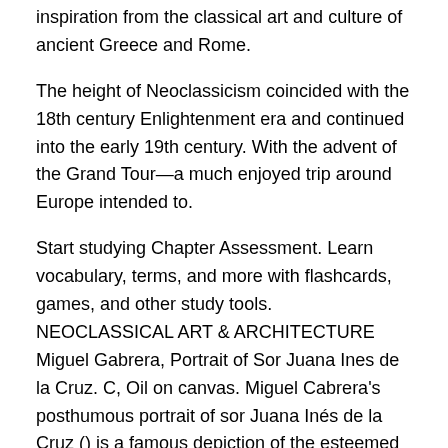inspiration from the classical art and culture of ancient Greece and Rome.
The height of Neoclassicism coincided with the 18th century Enlightenment era and continued into the early 19th century. With the advent of the Grand Tour—a much enjoyed trip around Europe intended to.
Start studying Chapter Assessment. Learn vocabulary, terms, and more with flashcards, games, and other study tools. NEOCLASSICAL ART & ARCHITECTURE Miguel Gabrera, Portrait of Sor Juana Ines de la Cruz. C, Oil on canvas. Miguel Cabrera's posthumous portrait of sor Juana Inés de la Cruz () is a famous depiction of the esteemed Mexican nun and writer.
Considered the first feministFile Size: 7MB. Neoclassicism was a revival of Greek and Roman forms and ideas that emerged in late 18th century Europe and North America.
The impact was profound in culture and politics. The excitement of classical antiquity, stimulated by discoveries at Pompeii and new